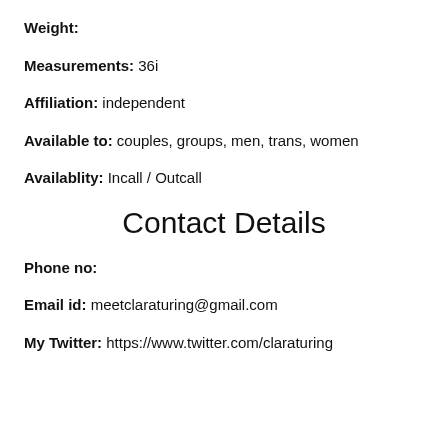Weight:
Measurements: 36i
Affiliation: independent
Available to: couples, groups, men, trans, women
Availablity: Incall / Outcall
Contact Details
Phone no:
Email id: meetclaraturing@gmail.com
My Twitter: https://www.twitter.com/claraturing